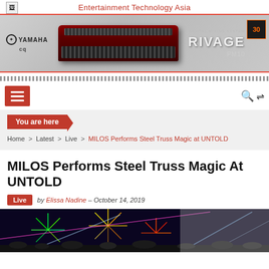Entertainment Technology Asia
[Figure (photo): Yamaha RIVAGE PM10 digital mixing system advertisement banner]
You are here
Home > Latest > Live > MILOS Performs Steel Truss Magic at UNTOLD
MILOS Performs Steel Truss Magic At UNTOLD
Live  by Elissa Nadine - October 14, 2019
[Figure (photo): Fireworks display at UNTOLD festival with colorful light beams]